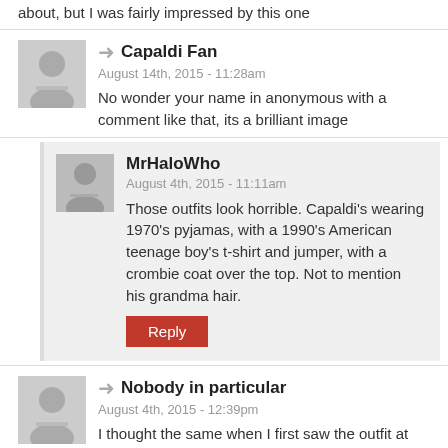about, but I was fairly impressed by this one
Capaldi Fan
August 14th, 2015 - 11:28am
No wonder your name in anonymous with a comment like that, its a brilliant image
MrHaloWho
August 4th, 2015 - 11:11am
Those outfits look horrible. Capaldi's wearing 1970's pyjamas, with a 1990's American teenage boy's t-shirt and jumper, with a crombie coat over the top. Not to mention his grandma hair.
Reply
Nobody in particular
August 4th, 2015 - 12:39pm
I thought the same when I first saw the outfit at filming, but it's kind of grown on me since. And anyway, it's only going to be in two episodes, so I assume there's a reason he's dressed more 'down' than the rest of the series.